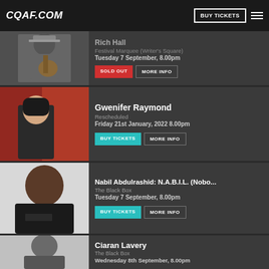CQAF.COM | BUY TICKETS
Rich Hall
Festival Marquee (Writer's Square)
Tuesday 7 September, 8.00pm
SOLD OUT | MORE INFO
Gwenifer Raymond
Rescheduled
Friday 21st January, 2022 8.00pm
BUY TICKETS | MORE INFO
Nabil Abdulrashid: N.A.B.I.L. (Nobo...
The Black Box
Tuesday 7 September, 8.00pm
BUY TICKETS | MORE INFO
Ciaran Lavery
The Black Box
Wednesday 8th September, 8.00pm